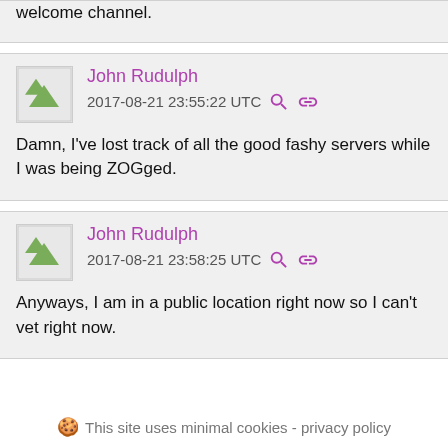welcome channel.
John Rudulph
2017-08-21 23:55:22 UTC
Damn, I've lost track of all the good fashy servers while I was being ZOGged.
John Rudulph
2017-08-21 23:58:25 UTC
Anyways, I am in a public location right now so I can't vet right now.
This site uses minimal cookies - privacy policy